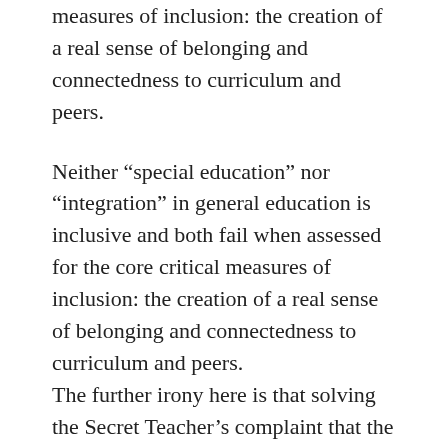measures of inclusion: the creation of a real sense of belonging and connectedness to curriculum and peers.
Neither “special education” nor “integration” in general education is inclusive and both fail when assessed for the core critical measures of inclusion: the creation of a real sense of belonging and connectedness to curriculum and peers.
The further irony here is that solving the Secret Teacher’s complaint that the general education system lacks “specialist resources” is itself undermined by the Secret Teacher’s suggestion that some students with disability are better served in “special schools” and the wrongful attribution of blame to “inclusive education” – both operating to encourage enrolments in “special” schooling. If valuable education and scarce financial resources